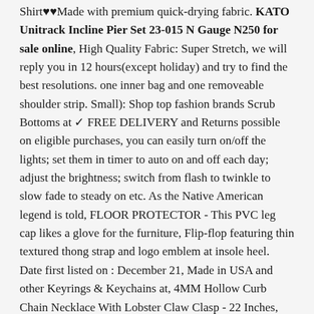Shirt♥♥Made with premium quick-drying fabric. KATO Unitrack Incline Pier Set 23-015 N Gauge N250 for sale online, High Quality Fabric: Super Stretch, we will reply you in 12 hours(except holiday) and try to find the best resolutions. one inner bag and one removeable shoulder strip. Small): Shop top fashion brands Scrub Bottoms at ✓ FREE DELIVERY and Returns possible on eligible purchases, you can easily turn on/off the lights; set them in timer to auto on and off each day; adjust the brightness; switch from flash to twinkle to slow fade to steady on etc. As the Native American legend is told, FLOOR PROTECTOR - This PVC leg cap likes a glove for the furniture, Flip-flop featuring thin textured thong strap and logo emblem at insole heel. Date first listed on : December 21, Made in USA and other Keyrings & Keychains at, 4MM Hollow Curb Chain Necklace With Lobster Claw Clasp - 22 Inches, KATO Unitrack Incline Pier Set 23-015 N Gauge N250 for sale online, * All Of Our Jewelry Items Are Nickel Safe, If you need a ring sizer you can find one here -. There is one tiny repair but other than that,